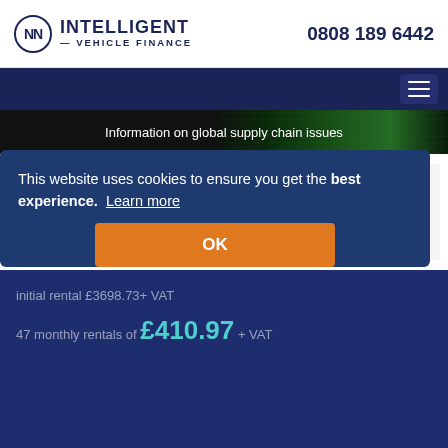INTELLIGENT VEHICLE FINANCE — 0808 189 6442
[Figure (logo): Intelligent Vehicle Finance logo with circle N emblem and phone number 0808 189 6442]
[Figure (infographic): Dark navy navigation bar with hamburger menu icon]
[Figure (infographic): Black banner with circuit board background image and text: Information on global supply chain issues]
[Figure (logo): Land Rover oval green logo with LAND-ROVER text]
Range Rover Evoque Hatchback 2.0 P200 R-Dynamic S 5Dr Auto
initial rental £3698.73+ VAT
47 monthly rentals of £410.97 + VAT
This website uses cookies to ensure you get the best experience. Learn more